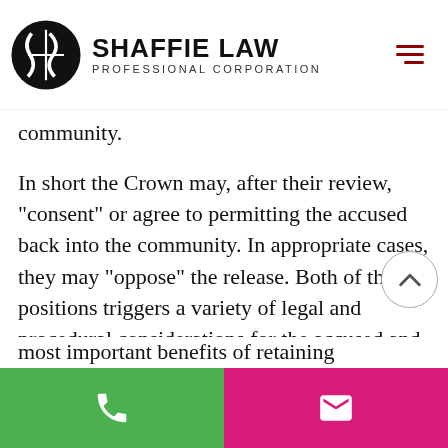Shaffie Law Professional Corporation
community.
In short the Crown may, after their review, "consent" or agree to permitting the accused back into the community. In appropriate cases, they may "oppose" the release. Both of these positions triggers a variety of legal and procedural considerations for the accused and the lawyer representing them.
Criminal defence lawyers play an essential role in the preliminary review of a criminal file. In fact, a defence lawyer...most important benefits of retaining